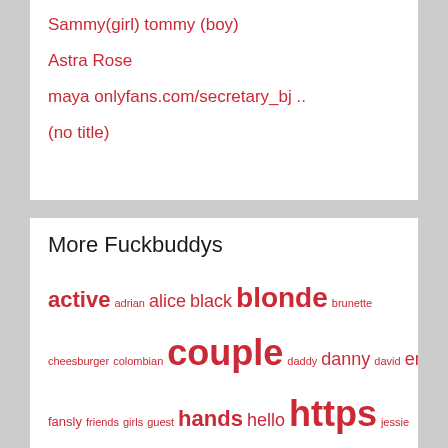Sammy(girl) tommy (boy)
Astra Rose
maya onlyfans.com/secretary_bj ..
(no title)
More Fuckbuddys
active adrian alice black blonde brunette cheesburger colombian couple daddy danny david emily fansly friends girls guest hands hello https jessie jesus julia kamilla karena lovense lucky mariia matya megan melissa michael molly onlyfans please